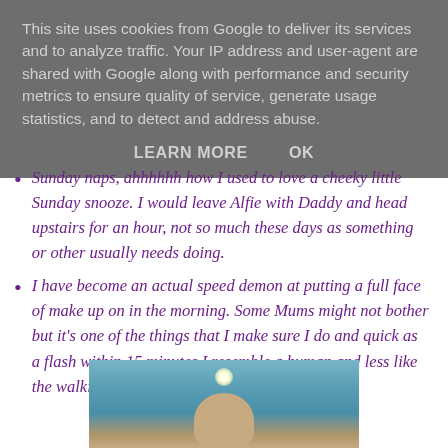This site uses cookies from Google to deliver its services and to analyze traffic. Your IP address and user-agent are shared with Google along with performance and security metrics to ensure quality of service, generate usage statistics, and to detect and address abuse.
LEARN MORE   OK
Sunday naps, ahhhhhh how I used to love a cheeky little Sunday snooze. I would leave Alfie with Daddy and head upstairs for an hour, not so much these days as something or other usually needs doing.
I have become an actual speed demon at putting a full face of make up on in the morning. Some Mums might not bother but it's one of the things that I make sure I do and quick as a flash within 15 minutes I resemble a human and less like the walking dead.
[Figure (photo): Partial photo of a person, cropped at bottom of page, showing head/upper body against a blue-grey background with a light source visible at top.]